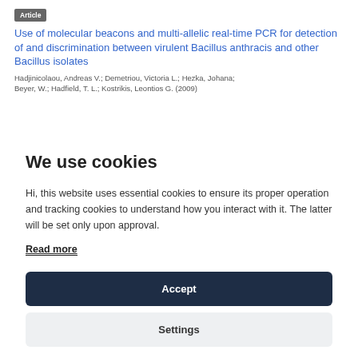Article
Use of molecular beacons and multi-allelic real-time PCR for detection of and discrimination between virulent Bacillus anthracis and other Bacillus isolates
Hadjinicolaou, Andreas V.; Demetriou, Victoria L.; Hezka, Johana; Beyer, W.; Hadfield, T. L.; Kostrikis, Leontios G. (2009)
We use cookies
Hi, this website uses essential cookies to ensure its proper operation and tracking cookies to understand how you interact with it. The latter will be set only upon approval.
Read more
Accept
Settings